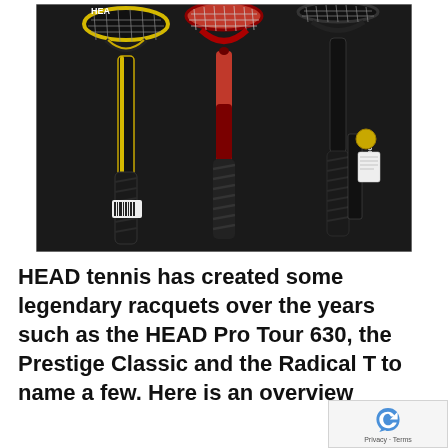[Figure (photo): Three tennis racquets displayed on a dark background. Left racquet is black and yellow, center racquet is red with dark grip, right racquet is black with an 'intelligence' branded tag attached to the grip. All three show barcodes/tags on their handles.]
HEAD tennis has created some legendary racquets over the years such as the HEAD Pro Tour 630, the Prestige Classic and the Radical T to name a few. Here is an overview th...